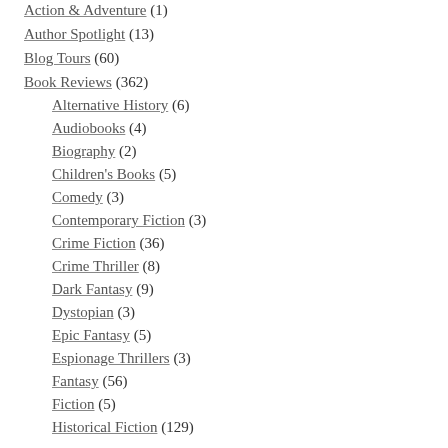Action & Adventure (1)
Author Spotlight (13)
Blog Tours (60)
Book Reviews (362)
Alternative History (6)
Audiobooks (4)
Biography (2)
Children's Books (5)
Comedy (3)
Contemporary Fiction (3)
Crime Fiction (36)
Crime Thriller (8)
Dark Fantasy (9)
Dystopian (3)
Epic Fantasy (5)
Espionage Thrillers (3)
Fantasy (56)
Fiction (5)
Historical Fiction (129)